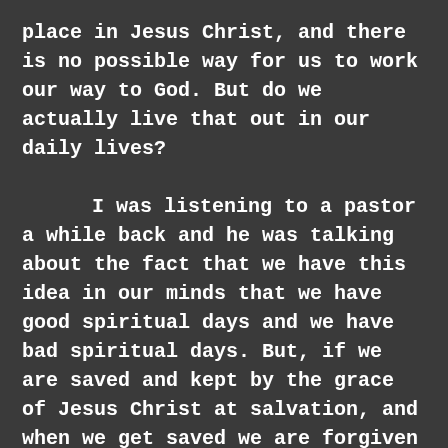place in Jesus Christ, and there is no possible way for us to work our way to God. But do we actually live that out in our daily lives?

I was listening to a pastor a while back and he was talking about the fact that we have this idea in our minds that we have good spiritual days and we have bad spiritual days. But, if we are saved and kept by the grace of Jesus Christ at salvation, and when we get saved we are forgiven of our past, present and future sins, then does that really mean that we are going to have good or bad spiritual days? If once I am saved I am just as much a child of the King as I will be 30 years from now then